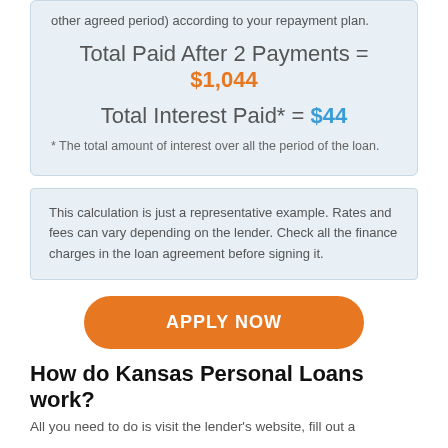other agreed period) according to your repayment plan.
Total Paid After 2 Payments = $1,044
Total Interest Paid* = $44
* The total amount of interest over all the period of the loan.
This calculation is just a representative example. Rates and fees can vary depending on the lender. Check all the finance charges in the loan agreement before signing it.
[Figure (other): Orange rounded button labeled APPLY NOW]
How do Kansas Personal Loans work?
All you need to do is visit the lender's website, fill out a